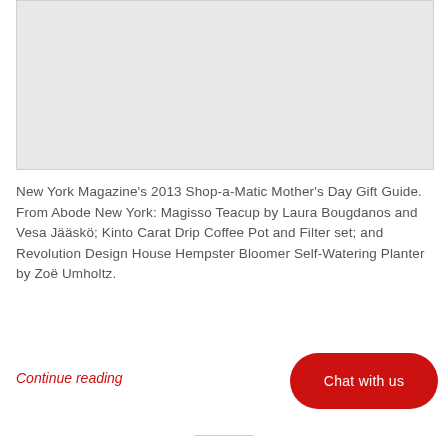[Figure (photo): Gray placeholder area representing an image, likely a product photo from New York Magazine's Shop-a-Matic Mother's Day Gift Guide]
New York Magazine's 2013 Shop-a-Matic Mother's Day Gift Guide. From Abode New York: Magisso Teacup by Laura Bougdanos and Vesa Jääskö; Kinto Carat Drip Coffee Pot and Filter set; and Revolution Design House Hempster Bloomer Self-Watering Planter by Zoë Umholtz.
Continue reading
Chat with us